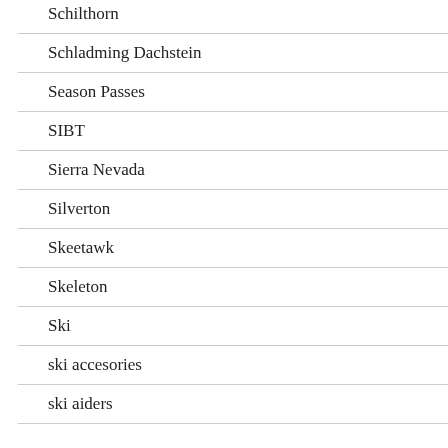Schilthorn
Schladming Dachstein
Season Passes
SIBT
Sierra Nevada
Silverton
Skeetawk
Skeleton
Ski
ski accesories
ski aiders